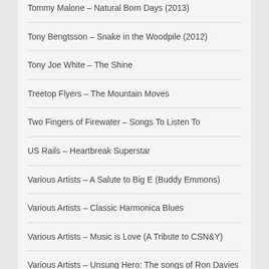Tommy Malone – Natural Born Days (2013)
Tony Bengtsson – Snake in the Woodpile (2012)
Tony Joe White – The Shine
Treetop Flyers – The Mountain Moves
Two Fingers of Firewater – Songs To Listen To
US Rails – Heartbreak Superstar
Various Artists – A Salute to Big E (Buddy Emmons)
Various Artists – Classic Harmonica Blues
Various Artists – Music is Love (A Tribute to CSN&Y)
Various Artists – Unsung Hero: The songs of Ron Davies